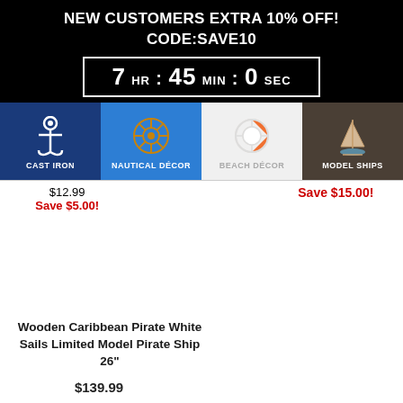NEW CUSTOMERS EXTRA 10% OFF!
CODE:SAVE10
7 HR : 45 MIN : 0 SEC
[Figure (infographic): Navigation bar with four category icons: Cast Iron (anchor icon, dark blue), Nautical Décor (ship wheel icon, blue), Beach Décor (life preserver icon, white/grey), Model Ships (sailboat icon, brown)]
$12.99
Save $5.00!
Save $15.00!
Wooden Caribbean Pirate White Sails Limited Model Pirate Ship 26"
$139.99